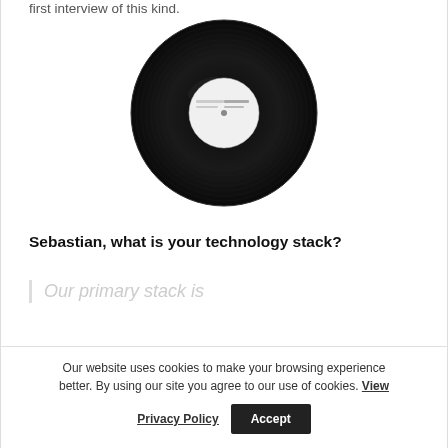first interview of this kind.
[Figure (photo): A black vinyl record with a white label in the center, partially cropped at the bottom, showing reflective grooves.]
Sebastian, what is your technology stack?
Our primary stack is
Our website uses cookies to make your browsing experience better. By using our site you agree to our use of cookies. View Privacy Policy Accept